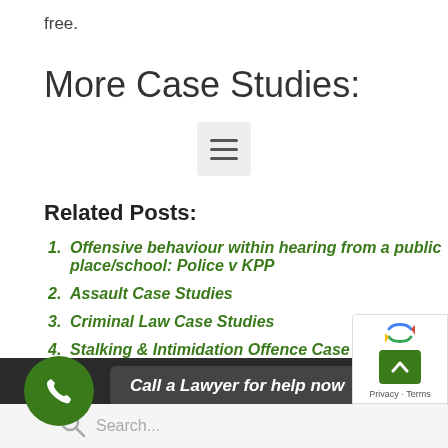free.
More Case Studies:
[Figure (other): Hamburger menu icon (three horizontal lines) inside a light grey square button]
Related Posts:
Offensive behaviour within hearing from a public place/school: Police v KPP
Assault Case Studies
Criminal Law Case Studies
Stalking & Intimidation Offence Case Studies
Call a Lawyer for help now | Search...